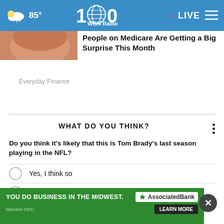85° WGN Radio LIVE
[Figure (photo): Partial photo of a person, cropped at top left below header]
People on Medicare Are Getting a Big Surprise This Month
Everyday Finance
WHAT DO YOU THINK?
Do you think it's likely that this is Tom Brady's last season playing in the NFL?
Yes, I think so
Maybe, I'm not sure
No, I don't think so
Other
[Figure (screenshot): Advertisement banner: YOU DO BUSINESS IN THE MIDWEST. Associated Bank. LEARN MORE. Member FDIC.]